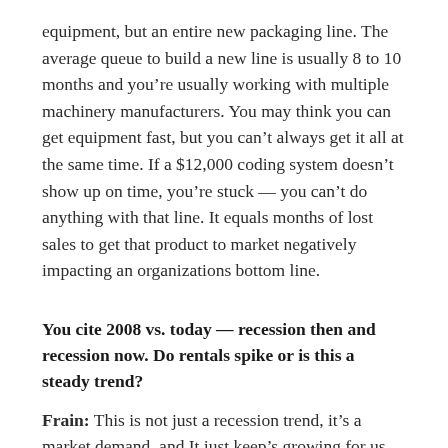equipment, but an entire new packaging line. The average queue to build a new line is usually 8 to 10 months and you're usually working with multiple machinery manufacturers. You may think you can get equipment fast, but you can't always get it all at the same time. If a $12,000 coding system doesn't show up on time, you're stuck — you can't do anything with that line. It equals months of lost sales to get that product to market negatively impacting an organizations bottom line.
You cite 2008 vs. today — recession then and recession now. Do rentals spike or is this a steady trend?
Frain: This is not just a recession trend, it's a market demand, and It just keep's growing for us. Let me put it this way: In 2008, rental was 20% of our